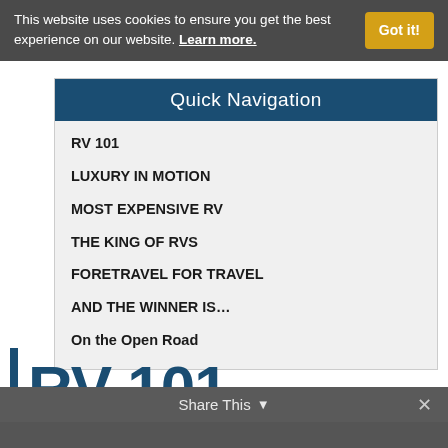This website uses cookies to ensure you get the best experience on our website. Learn more.
Quick Navigation
RV 101
LUXURY IN MOTION
MOST EXPENSIVE RV
THE KING OF RVS
FORETRAVEL FOR TRAVEL
AND THE WINNER IS…
On the Open Road
RV 101
Share This ∨   ✕